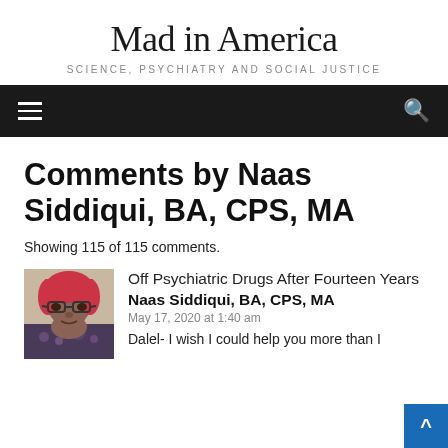Mad in America
SCIENCE, PSYCHIATRY AND SOCIAL JUSTICE
Comments by Naas Siddiqui, BA, CPS, MA
Showing 115 of 115 comments.
[Figure (photo): Profile photo of Naas Siddiqui — woman with red hair and glasses]
Off Psychiatric Drugs After Fourteen Years
Naas Siddiqui, BA, CPS, MA
May 17, 2020 at 1:40 am
Dalel- I wish I could help you more than I probably can